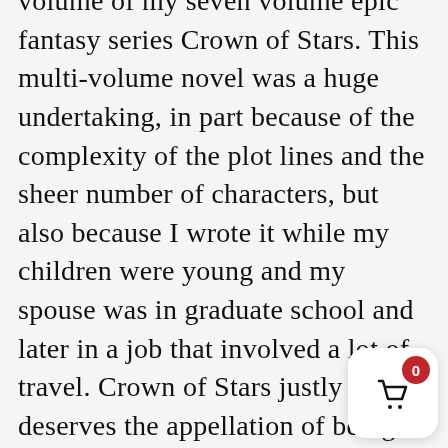volume of my seven volume epic fantasy series Crown of Stars. This multi-volume novel was a huge undertaking, in part because of the complexity of the plot lines and the sheer number of characters, but also because I wrote it while my children were young and my spouse was in graduate school and later in a job that involved a lot of travel. Crown of Stars justly deserves the appellation of being the most “kitchen sink” of my series since pretty much anything fantasy-related can be found in it, from an arcane and difficult to learn magic system based in astronomy to the humble lives of common people who are caught up in world-shaking events. So many readers wrote me begging me to make sure that something horrible happened to the main villain, Hugh, that I knew I couldn’t disappoint them; there’s something weirdly satisfying